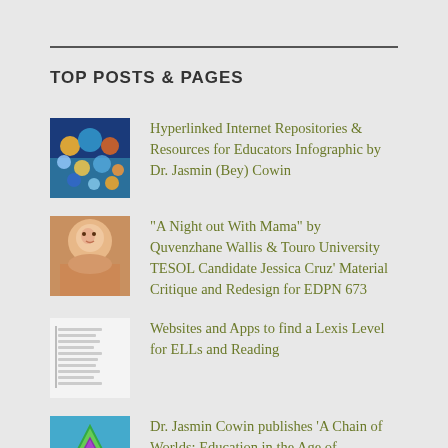TOP POSTS & PAGES
Hyperlinked Internet Repositories & Resources for Educators Infographic by Dr. Jasmin (Bey) Cowin
"A Night out With Mama" by Quvenzhane Wallis & Touro University TESOL Candidate Jessica Cruz' Material Critique and Redesign for EDPN 673
Websites and Apps to find a Lexis Level for ELLs and Reading
Dr. Jasmin Cowin publishes 'A Chain of Worlds: Education in the Age of